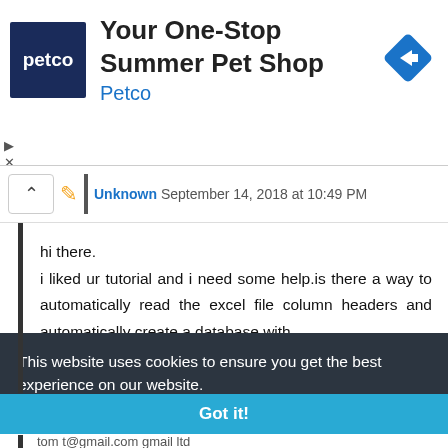[Figure (screenshot): Petco advertisement banner with logo, title 'Your One-Stop Summer Pet Shop', subtitle 'Petco', and a blue diamond navigation icon on the right]
Unknown  September 14, 2018 at 10:49 PM
hi there.
i liked ur tutorial and i need some help.is there a way to automatically read the excel file column headers and automatically create a database with
This website uses cookies to ensure you get the best experience on our website.
Learn more
Got it!
tom t@gmail.com gmail ltd